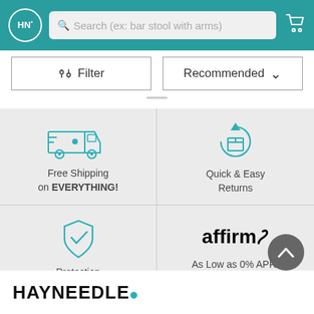HN* Search (ex: bar stool with arms)
[Figure (screenshot): Filter and Recommended sort buttons]
[Figure (infographic): Four feature panels: Free Shipping on EVERYTHING!, Quick & Easy Returns, Protection Plans Available, affirm As Low as 0% APR* Financing Available]
HAYNEEDLE*